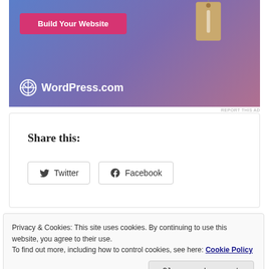[Figure (illustration): WordPress.com advertisement banner with blue-purple gradient background, a 'Build Your Website' pink button, a hanging price tag illustration, and the WordPress.com logo with text.]
REPORT THIS AD
Share this:
Twitter  Facebook
Privacy & Cookies: This site uses cookies. By continuing to use this website, you agree to their use.
To find out more, including how to control cookies, see here: Cookie Policy
Close and accept